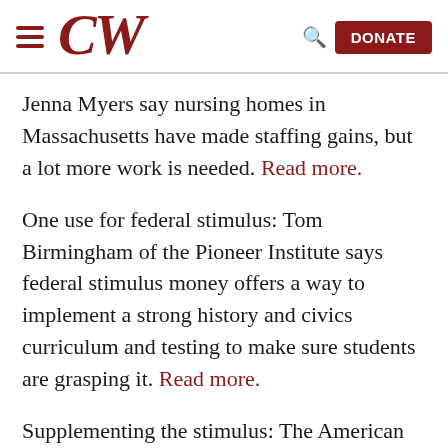CW — navigation header with hamburger menu, CW logo, search icon, and DONATE button
Jenna Myers say nursing homes in Massachusetts have made staffing gains, but a lot more work is needed. Read more.
One use for federal stimulus: Tom Birmingham of the Pioneer Institute says federal stimulus money offers a way to implement a strong history and civics curriculum and testing to make sure students are grasping it. Read more.
Supplementing the stimulus: The American Rescue Plan contains major anti-poverty initiatives, but Sen. Jamie Eldridge of Acton says Massachusetts must pitch